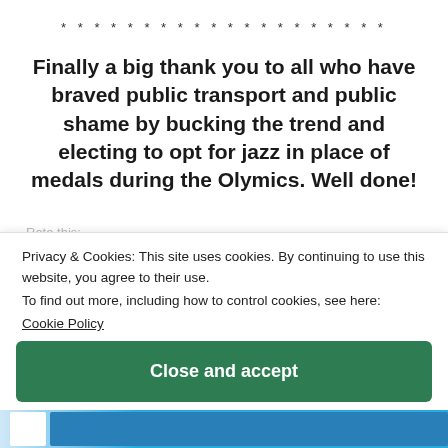* * * * * * * * * * * * * * * * * * * *
Finally a big thank you to all who have braved public transport and public shame by bucking the trend and electing to opt for jazz in place of medals during the Olymics. Well done!
Privacy & Cookies: This site uses cookies. By continuing to use this website, you agree to their use.
To find out more, including how to control cookies, see here:
Cookie Policy
Close and accept